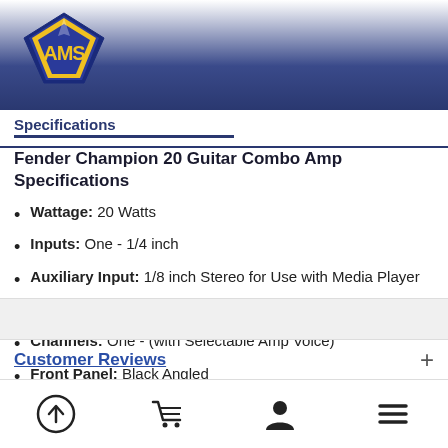[Figure (logo): AMS logo - yellow and blue diamond shape with AMS text]
Specifications
Fender Champion 20 Guitar Combo Amp Specifications
Wattage: 20 Watts
Inputs: One - 1/4 inch
Auxiliary Input: 1/8 inch Stereo for Use with Media Player
Headphone Jack: 1/8 inch Stereo
Channels: One - (with Selectable Amp Voice)
Front Panel: Black Angled
Grill Cover: Black Bronco Vinyl Covering with Silver
Customer Reviews